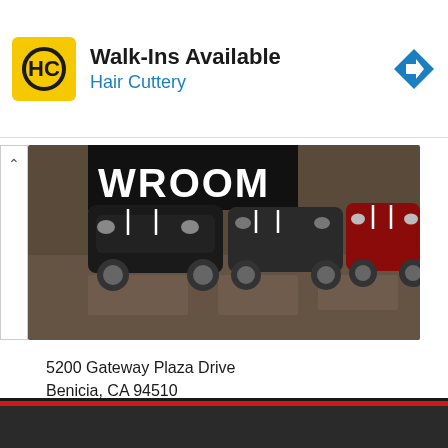[Figure (infographic): Hair Cuttery advertisement banner with yellow HC logo, 'Walk-Ins Available' heading, 'Hair Cuttery' subtitle in blue, and a blue diamond navigation arrow on the right]
[Figure (photo): Car showroom photo showing multiple classic/muscle cars (including what appear to be Cobras and a red car) lined up on a polished floor with a 'SHOWROOM' sign visible in the background]
5200 Gateway Plaza Drive
Benicia, CA 94510
707-748-4000